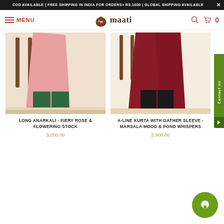COD AVAILABLE | FREE SHIPPING IN INDIA FOR ORDERS> RS.1000 | GLOBAL SHIPPING AVAILABLE
[Figure (screenshot): Maati brand navigation bar with hamburger menu, logo, search and cart icons]
[Figure (photo): Long anarkali kurta in fiery rose and flowering stock — lower body view showing pink top, green pants, brown shoes]
LONG ANARKALI - FIERY ROSE & FLOWERING STOCK
3,200.00
[Figure (photo): A-line kurta with gather sleeve in marsala mood and pond whispers — lower body view showing dark red top, black pants, white sandals]
A-LINE KURTA WITH GATHER SLEEVE - MARSALA MOOD & POND WHISPERS
2,900.00